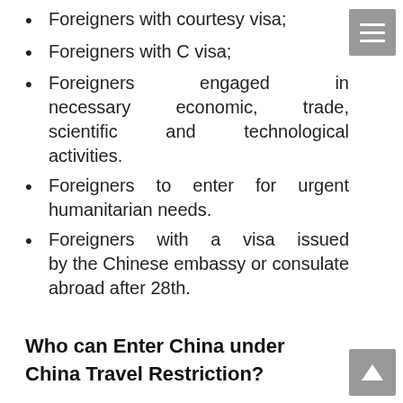Foreigners with courtesy visa;
Foreigners with C visa;
Foreigners engaged in necessary economic, trade, scientific and technological activities.
Foreigners to enter for urgent humanitarian needs.
Foreigners with a visa issued by the Chinese embassy or consulate abroad after 28th.
Who can Enter China under China Travel Restriction?